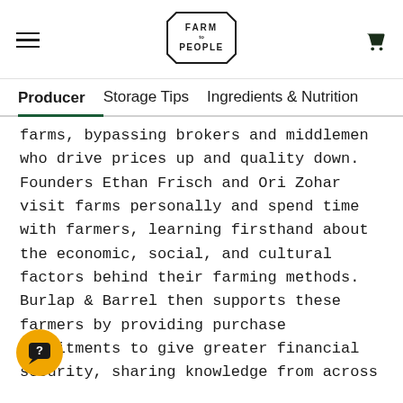FARM to PEOPLE
Producer | Storage Tips | Ingredients & Nutrition
farms, bypassing brokers and middlemen who drive prices up and quality down. Founders Ethan Frisch and Ori Zohar visit farms personally and spend time with farmers, learning firsthand about the economic, social, and cultural factors behind their farming methods. Burlap & Barrel then supports these farmers by providing purchase commitments to give greater financial security, sharing knowledge from across their global farmer network, and expanding on-site value-added activities such as sorting, grinding, packaging to increase farmer revenue. Burlap & Barrel works with their partner farmers to identify unique varietals of spices that are